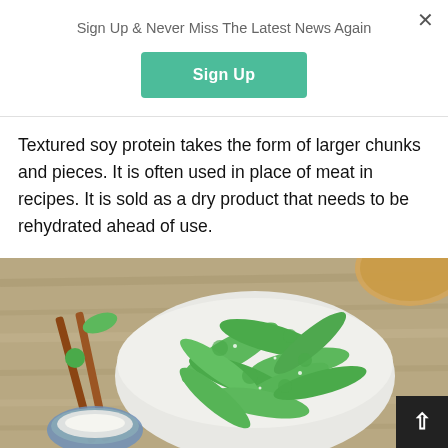Sign Up & Never Miss The Latest News Again
Sign Up
Textured soy protein takes the form of larger chunks and pieces. It is often used in place of meat in recipes. It is sold as a dry product that needs to be rehydrated ahead of use.
[Figure (photo): A bowl of fresh green edamame (soybean pods) on a wooden table with chopsticks and a small bowl of salt. A bamboo steamer lid is visible in the top right corner.]